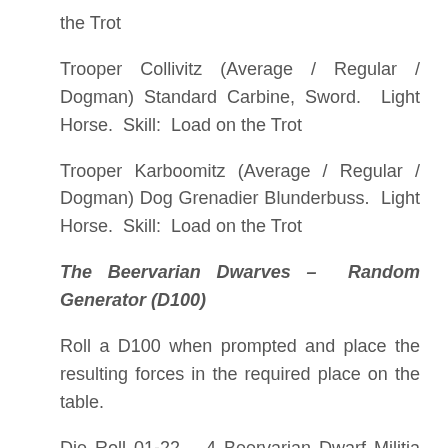the Trot
Trooper Collivitz (Average / Regular / Dogman) Standard Carbine, Sword.  Light Horse.  Skill:  Load on the Trot
Trooper Karboomitz (Average / Regular / Dogman) Dog Grenadier Blunderbuss.  Light Horse.  Skill:  Load on the Trot
The Beervarian Dwarves – Random Generator (D100)
Roll a D100 when prompted and place the resulting forces in the required place on the table.
Die Roll 01-22 – 4 Beervarian Dwarf Militia (Average